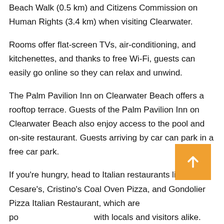Beach Walk (0.5 km) and Citizens Commission on Human Rights (3.4 km) when visiting Clearwater.
Rooms offer flat-screen TVs, air-conditioning, and kitchenettes, and thanks to free Wi-Fi, guests can easily go online so they can relax and unwind.
The Palm Pavilion Inn on Clearwater Beach offers a rooftop terrace. Guests of the Palm Pavilion Inn on Clearwater Beach also enjoy access to the pool and on-site restaurant. Guests arriving by car can park in a free car park.
If you're hungry, head to Italian restaurants like Cesare's, Cristino's Coal Oven Pizza, and Gondolier Pizza Italian Restaurant, which are popular with locals and visitors alike.
During your stay, visit the popular tourist attraction